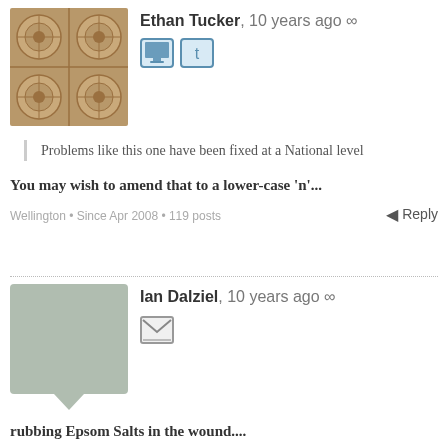[Figure (photo): Avatar image for Ethan Tucker - decorative tile/stamp pattern in brown/tan tones]
Ethan Tucker, 10 years ago ∞
[Figure (other): Monitor icon and Twitter bird icon as small colored squares]
Problems like this one have been fixed at a National level
You may wish to amend that to a lower-case 'n'...
Wellington • Since Apr 2008 • 119 posts
Reply
[Figure (other): Avatar placeholder for Ian Dalziel - grey speech bubble shape]
Ian Dalziel, 10 years ago ∞
[Figure (other): Mail/envelope icon]
rubbing Epsom Salts in the wound....
John Banks takes his lead from The Master....